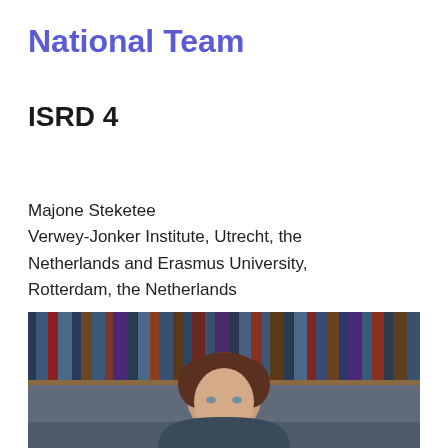National Team
ISRD 4
Majone Steketee
Verwey-Jonker Institute, Utrecht, the Netherlands and Erasmus University, Rotterdam, the Netherlands
[Figure (photo): Portrait photo of Majone Steketee in front of a bookshelf background]